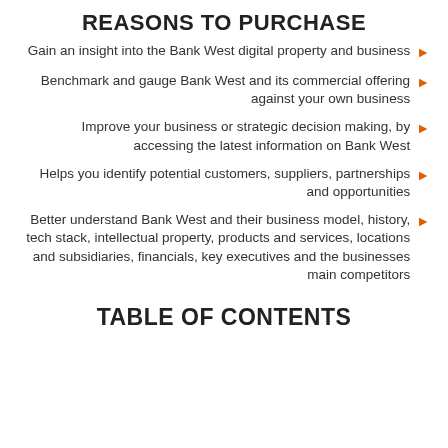REASONS TO PURCHASE
Gain an insight into the Bank West digital property and business
Benchmark and gauge Bank West and its commercial offering against your own business
Improve your business or strategic decision making, by accessing the latest information on Bank West
Helps you identify potential customers, suppliers, partnerships and opportunities
Better understand Bank West and their business model, history, tech stack, intellectual property, products and services, locations and subsidiaries, financials, key executives and the businesses main competitors
TABLE OF CONTENTS